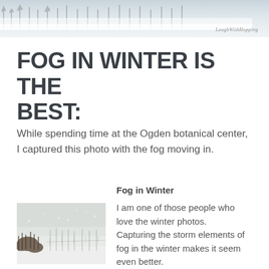[Figure (photo): Snowy winter landscape photo at top of page with trees and fog, watermark text in bottom right]
FOG IN WINTER IS THE BEST:
While spending time at the Ogden botanical center, I captured this photo with the fog moving in.
[Figure (photo): Small thumbnail photo of foggy winter scene with snow-covered ground and bare trees/shrubs]
Fog in Winter
I am one of those people who love the winter photos. Capturing the storm elements of fog in the winter makes it seem even better.